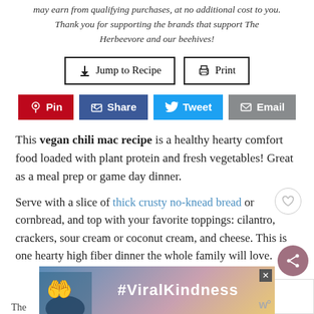may earn from qualifying purchases, at no additional cost to you. Thank you for supporting the brands that support The Herbeevore and our beehives!
Jump to Recipe  |  Print
Pin  Share  Tweet  Email
This vegan chili mac recipe is a healthy hearty comfort food loaded with plant protein and fresh vegetables! Great as a meal prep or game day dinner.
Serve with a slice of thick crusty no-knead bread or cornbread, and top with your favorite toppings: cilantro, crackers, sour cream or coconut cream, and cheese. This is one hearty high fiber dinner the whole family will love.
[Figure (other): WHAT'S NEXT promo box for Pumpkin Lentil Chili with thumbnail]
[Figure (other): Advertisement banner with #ViralKindness text and heart hands silhouette]